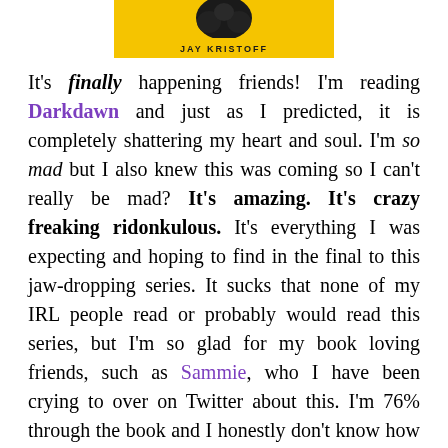[Figure (photo): Partial book cover image visible at top of page, yellow background with dark text partially visible]
It's finally happening friends! I'm reading Darkdawn and just as I predicted, it is completely shattering my heart and soul. I'm so mad but I also knew this was coming so I can't really be mad? It's amazing. It's crazy freaking ridonkulous. It's everything I was expecting and hoping to find in the final to this jaw-dropping series. It sucks that none of my IRL people read or probably would read this series, but I'm so glad for my book loving friends, such as Sammie, who I have been crying to over on Twitter about this. I'm 76% through the book and I honestly don't know how I'm going to avoid slipping into a reading slump after I finish it!